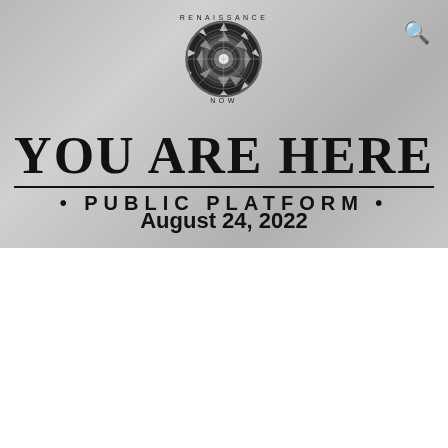[Figure (logo): Renaissance Now circular logo with intricate geometric pattern, text 'RENAISSANCE' above and 'NOW' below]
YOU ARE HERE
• PUBLIC PLATFORM •
August 24, 2022
We use cookies on our website to give you the most relevant experience by remembering your preferences and repeat visits. By clicking "Accept All", you consent to the use of ALL the cookies. However, you may visit "Cookie Settings" to provide a controlled consent.
Cookie Settings
Accept All